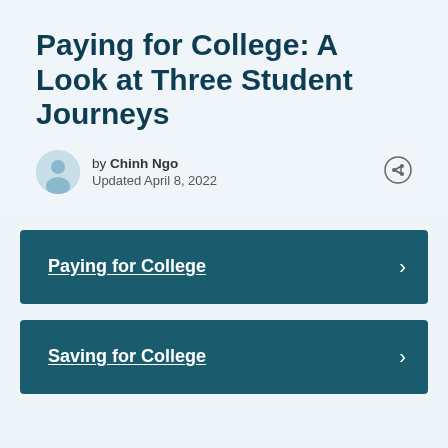Paying for College: A Look at Three Student Journeys
by Chinh Ngo
Updated April 8, 2022
Paying for College
Saving for College